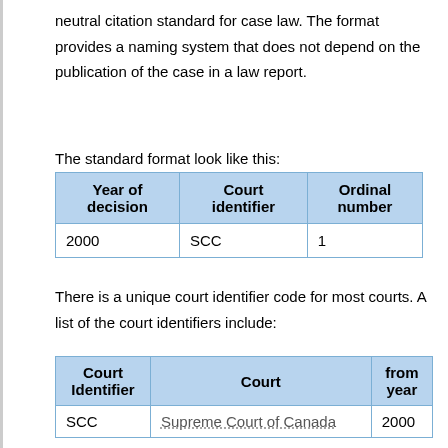neutral citation standard for case law. The format provides a naming system that does not depend on the publication of the case in a law report.
The standard format look like this:
| Year of decision | Court identifier | Ordinal number |
| --- | --- | --- |
| 2000 | SCC | 1 |
There is a unique court identifier code for most courts. A list of the court identifiers include:
| Court Identifier | Court | from year |
| --- | --- | --- |
| SCC | Supreme Court of Canada | 2000 |